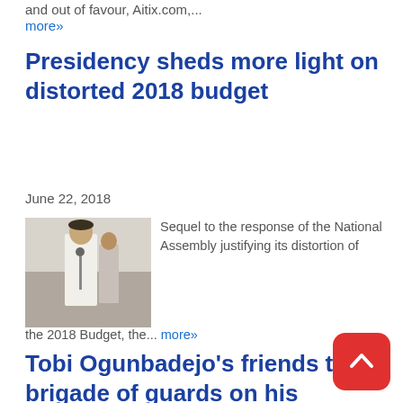and out of favour, Aitix.com,...
more»
Presidency sheds more light on distorted 2018 budget
June 22, 2018
[Figure (photo): Photo of a person in white clothing speaking at a microphone outdoors]
Sequel to the response of the National Assembly justifying its distortion of the 2018 Budget, the... more»
Tobi Ogunbadejo's friends turn brigade of guards on his special day
April 25, 2018
[Figure (photo): Photo of a group of people in matching outfits]
Friends of Tobi Ogunbadejo formed a